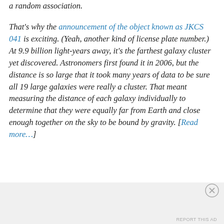a random association.

That's why the announcement of the object known as JKCS 041 is exciting. (Yeah, another kind of license plate number.) At 9.9 billion light-years away, it's the farthest galaxy cluster yet discovered. Astronomers first found it in 2006, but the distance is so large that it took many years of data to be sure all 19 large galaxies were really a cluster. That meant measuring the distance of each galaxy individually to determine that they were equally far from Earth and close enough together on the sky to be bound by gravity. [Read more…]
Advertisements